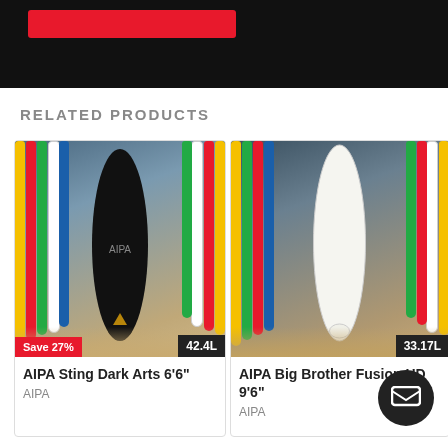[Figure (photo): Top banner with red button on black background, partially visible]
RELATED PRODUCTS
[Figure (photo): AIPA Sting Dark Arts 6'6" surfboard (black) shown in surf shop with colorful boards. Save 27% badge, 42.4L volume badge.]
AIPA Sting Dark Arts 6'6"
AIPA
[Figure (photo): AIPA Big Brother Fusion HD 9'6" surfboard (white) shown in surf shop with colorful boards. 33.17L volume badge.]
AIPA Big Brother Fusion HD 9'6"
AIPA